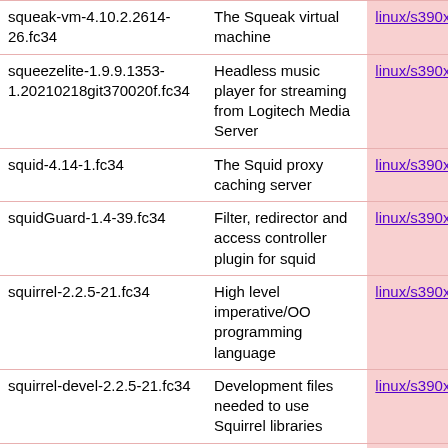| Package | Description | Arch |
| --- | --- | --- |
| squeak-vm-4.10.2.2614-26.fc34 | The Squeak virtual machine | linux/s390x |
| squeezelite-1.9.9.1353-1.20210218git370020f.fc34 | Headless music player for streaming from Logitech Media Server | linux/s390x |
| squid-4.14-1.fc34 | The Squid proxy caching server | linux/s390x |
| squidGuard-1.4-39.fc34 | Filter, redirector and access controller plugin for squid | linux/s390x |
| squirrel-2.2.5-21.fc34 | High level imperative/OO programming language | linux/s390x |
| squirrel-devel-2.2.5-21.fc34 | Development files needed to use Squirrel libraries | linux/s390x |
| squirrel-libs-2.2.5-21.fc34 | Libraries needed to run Squirrel scripts | linux/s390x |
| squirrelmail-1.4.23-6.fc34.20190710 | webmail client written in php | linux/noarch |
| ... | Modern, beautiful... | ... |